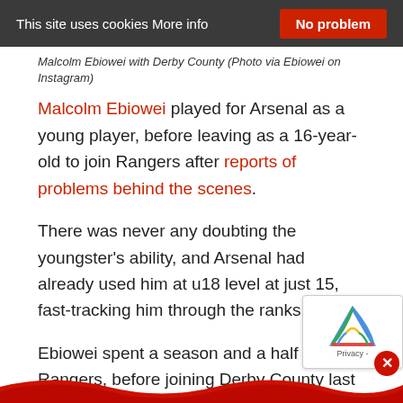This site uses cookies More info   No problem
Malcolm Ebiowei with Derby County (Photo via Ebiowei on Instagram)
Malcolm Ebiowei played for Arsenal as a young player, before leaving as a 16-year-old to join Rangers after reports of problems behind the scenes.
There was never any doubting the youngster's ability, and Arsenal had already used him at u18 level at just 15, fast-tracking him through the ranks.
Ebiowei spent a season and a half at Rangers, before joining Derby County last September. But he only signed a one-year deal, and with Derby's relegation to League One, the teenager is now looking for his third transfer in three y…